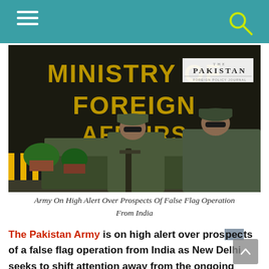Navigation bar with hamburger menu and search icon
[Figure (photo): Two Pakistani army soldiers in camouflage uniforms sitting on a military vehicle in front of the Ministry of Foreign Affairs building. The building has large gold letters reading MINISTRY OF FOREIGN AFFAIRS on a dark background. A 'The Pakistan' logo/watermark is visible in the upper right of the photo. There are potted plants and a yellow-black striped barrier visible.]
Army On High Alert Over Prospects Of False Flag Operation From India
The Pakistan Army is on high alert over prospects of a false flag operation from India as New Delhi seeks to shift attention away from the ongoing